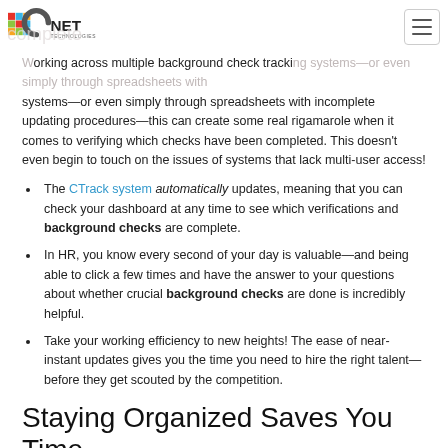CNET Technologies logo and navigation hamburger menu
Working across multiple background check tracking systems—or even simply through spreadsheets with incomplete updating procedures—this can create some real rigamarole when it comes to verifying which checks have been completed. This doesn't even begin to touch on the issues of systems that lack multi-user access!
The CTrack system automatically updates, meaning that you can check your dashboard at any time to see which verifications and background checks are complete.
In HR, you know every second of your day is valuable—and being able to click a few times and have the answer to your questions about whether crucial background checks are done is incredibly helpful.
Take your working efficiency to new heights! The ease of near-instant updates gives you the time you need to hire the right talent—before they get scouted by the competition.
Staying Organized Saves You Time